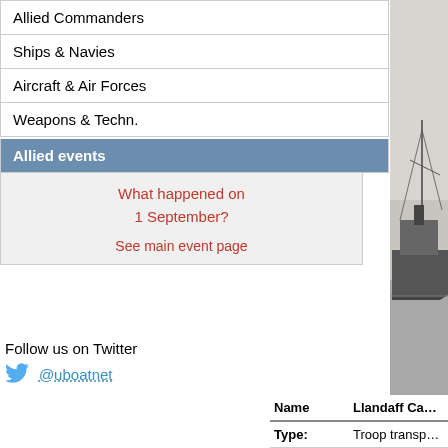Allied Commanders
Ships & Navies
Aircraft & Air Forces
Weapons & Techn.
Allied events
What happened on 1 September?
See main event page
Follow us on Twitter
@uboatnet
[Figure (photo): Black and white photograph of a ship at sea, likely a troop transport vessel]
| Name | Llandaff Ca... |
| --- | --- |
| Type: | Troop transp... |
| Tonnage | 10,799 tons... |
| Completed | 1926 - Work... |